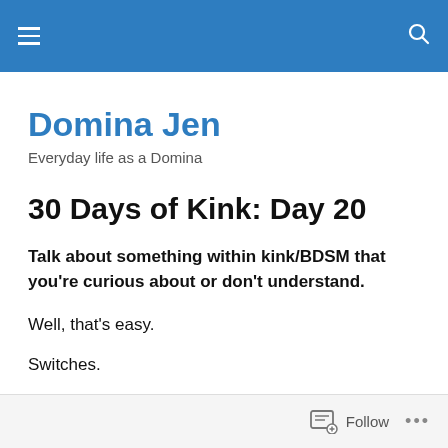Domina Jen — site header navigation bar
Domina Jen
Everyday life as a Domina
30 Days of Kink: Day 20
Talk about something within kink/BDSM that you're curious about or don't understand.
Well, that's easy.
Switches.
Follow ...